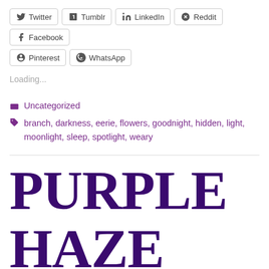Twitter  Tumblr  LinkedIn  Reddit  Facebook  Pinterest  WhatsApp
Loading...
Uncategorized
branch, darkness, eerie, flowers, goodnight, hidden, light, moonlight, sleep, spotlight, weary
PURPLE HAZE